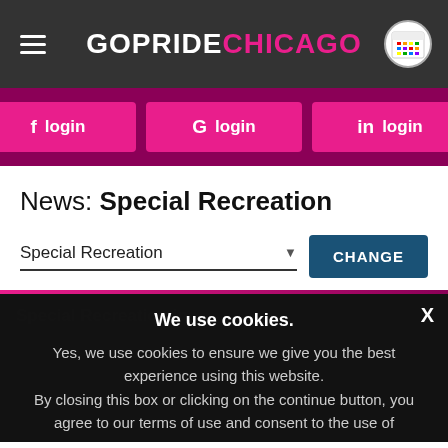GOPRIDE CHICAGO
f login  G login  in login
News: Special Recreation
Special Recreation  CHANGE
Special Recreation in ...
We use cookies. Yes, we use cookies to ensure we give you the best experience using this website. By closing this box or clicking on the continue button, you agree to our terms of use and consent to the use of